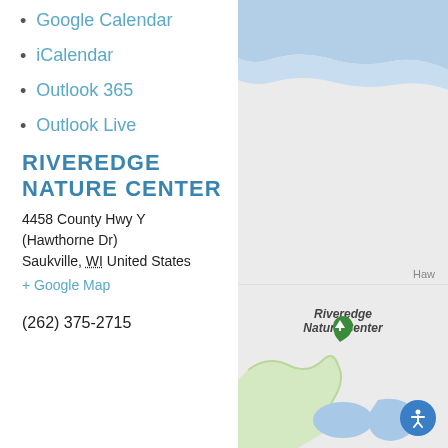Google Calendar
iCalendar
Outlook 365
Outlook Live
RIVEREDGE NATURE CENTER
4458 County Hwy Y (Hawthorne Dr)
Saukville, WI United States
+ Google Map
(262) 375-2715
[Figure (map): Google Map showing Riveredge Nature Center location near Saukville, WI. Map shows blue water body at top, green path/river, blue ponds at bottom, and a green location pin marker labeled 'Riveredge Nature Center'. Partial road label 'Haw' visible at right.]